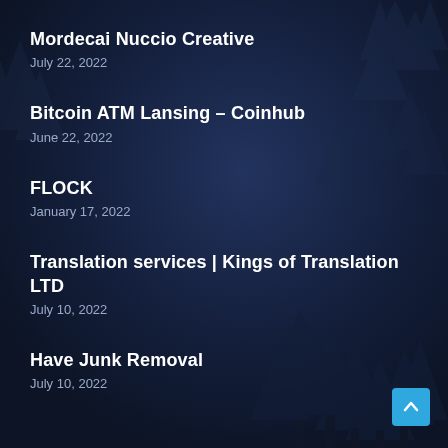Mordecai Nuccio Creative
July 22, 2022
Bitcoin ATM Lansing – Coinhub
June 22, 2022
FLOCK
January 17, 2022
Translation services | Kings of Translation LTD
July 10, 2022
Have Junk Removal
July 10, 2022